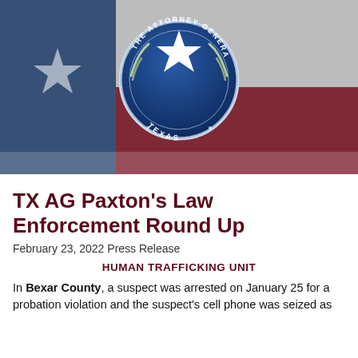[Figure (photo): Texas flag background with the Texas Attorney General official seal (blue circular seal with star and laurel wreath, text reading THE ATTORNEY GENERAL TEXAS) centered at the top. The flag shows blue, white, and red sections in a blurred, waving style.]
TX AG Paxton's Law Enforcement Round Up
February 23, 2022 Press Release
HUMAN TRAFFICKING UNIT
In Bexar County, a suspect was arrested on January 25 for a probation violation and the suspect's cell phone was seized as